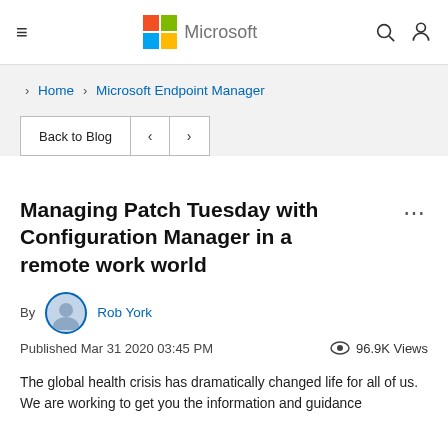Microsoft
Home › Microsoft Endpoint Manager
Back to Blog < >
Managing Patch Tuesday with Configuration Manager in a remote work world
By Rob York
Published Mar 31 2020 03:45 PM  96.9K Views
The global health crisis has dramatically changed life for all of us. We are working to get you the information and guidance